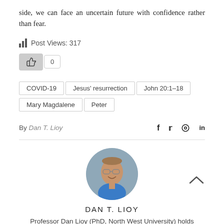side, we can face an uncertain future with confidence rather than fear.
Post Views: 317
[Figure (infographic): Like button with thumbs-up icon and count display showing 0]
COVID-19
Jesus' resurrection
John 20:1–18
Mary Magdalene
Peter
By Dan T. Lioy
[Figure (photo): Circular profile photo of Dan T. Lioy, a man with glasses smiling, wearing a blue shirt, grey background]
DAN T. LIOY
Professor Dan Lioy (PhD, North West University) holds